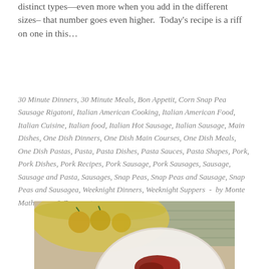distinct types—even more when you add in the different sizes– that number goes even higher.  Today's recipe is a riff on one in this…
30 Minute Dinners, 30 Minute Meals, Bon Appetit, Corn Snap Pea Sausage Rigatoni, Italian American Cooking, Italian American Food, Italian Cuisine, Italian food, Italian Hot Sausage, Italian Sausage, Main Dishes, One Dish Dinners, One Dish Main Courses, One Dish Meals, One Dish Pastas, Pasta, Pasta Dishes, Pasta Sauces, Pasta Shapes, Pork, Pork Dishes, Pork Recipes, Pork Sausage, Pork Sausages, Sausage, Sausage and Pasta, Sausages, Snap Peas, Snap Peas and Sausage, Snap Peas and Sausagea, Weeknight Dinners, Weeknight Suppers  -  by Monte Mathews  -  0 Comments
[Figure (photo): Photo of a white plate with red pasta dish, a yellow bowl with lemons in the upper left, and a green patterned tablecloth in the background]